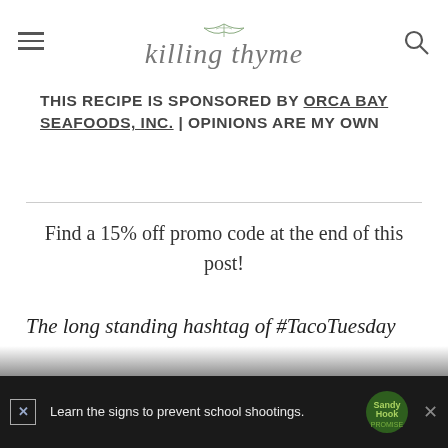killing thyme
THIS RECIPE IS SPONSORED BY ORCA BAY SEAFOODS, INC. | OPINIONS ARE MY OWN
Find a 15% off promo code at the end of this post!
The long standing hashtag of #TacoTuesday is proof that tacos never gets old — *especially* fish tacos. They do, however, tend to be on the predictable side which is ex...
[Figure (other): Sandy Hook Promise advertisement banner at bottom of page: 'Learn the signs to prevent school shootings.' with Sandy Hook Promise logo and close button.]